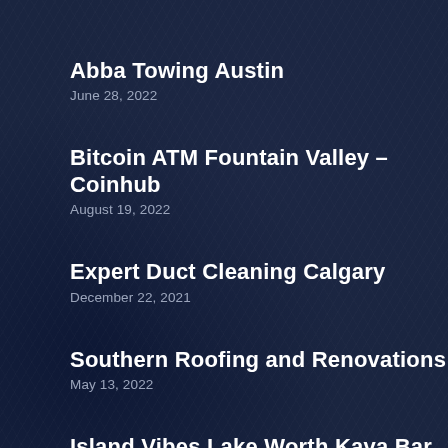Abba Towing Austin
June 28, 2022
Bitcoin ATM Fountain Valley – Coinhub
August 19, 2022
Expert Duct Cleaning Calgary
December 22, 2021
Southern Roofing and Renovations
May 13, 2022
Island Vibes Lake Worth Kava Bar
May 10, 2022